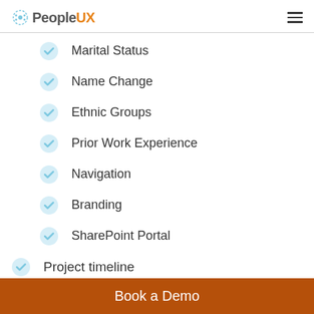PeopleUX
Marital Status
Name Change
Ethnic Groups
Prior Work Experience
Navigation
Branding
SharePoint Portal
Project timeline
Software installation: March 2014
Phase 1 go-live: June 2014
Book a Demo